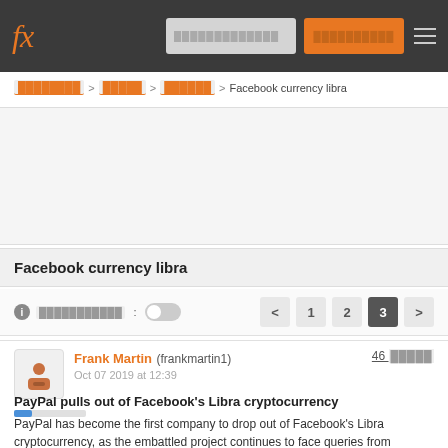fx [navigation bar with logo, search, login button, and menu]
[breadcrumb] > [forex] > [crypto] > Facebook currency libra
[Figure (other): Advertisement area (blank/redacted)]
Facebook currency libra
[subscribe toggle] | pagination: < 1 2 3 >
Frank Martin (frankmartin1)  Oct 07 2019 at 12:39   46 [score]
PayPal pulls out of Facebook's Libra cryptocurrency
PayPal has become the first company to drop out of Facebook's Libra cryptocurrency, as the embattled project continues to face queries from regulators around the world.